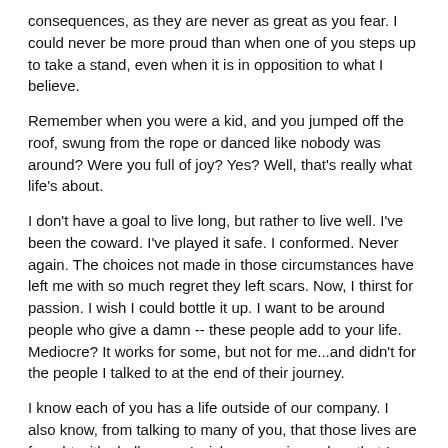consequences, as they are never as great as you fear. I could never be more proud than when one of you steps up to take a stand, even when it is in opposition to what I believe.
Remember when you were a kid, and you jumped off the roof, swung from the rope or danced like nobody was around? Were you full of joy? Yes? Well, that's really what life's about.
I don't have a goal to live long, but rather to live well. I've been the coward. I've played it safe. I conformed. Never again. The choices not made in those circumstances have left me with so much regret they left scars. Now, I thirst for passion. I wish I could bottle it up. I want to be around people who give a damn -- these people add to your life. Mediocre? It works for some, but not for me...and didn't for the people I talked to at the end of their journey.
I know each of you has a life outside of our company. I also know, from talking to many of you, that those lives are fraught with challenges. I wish -- very sincerely -- that I could remove all those those complications, rid you of those problems...however, I have not been gifted those powers. The best I can do for you is create an environment where you are free to be daring. Here, you can be free. My hope is that once you drink from this cup, you will thirst for nothing less in all parts of your life.